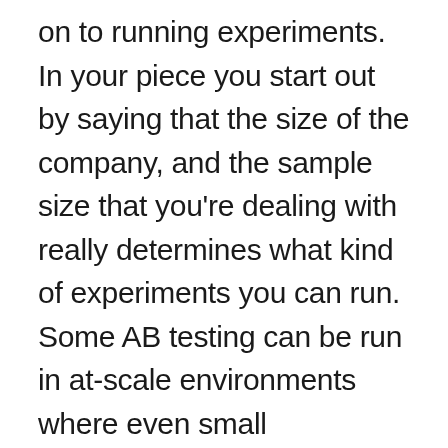on to running experiments. In your piece you start out by saying that the size of the company, and the sample size that you're dealing with really determines what kind of experiments you can run. Some AB testing can be run in at-scale environments where even small incremental changes can have a real effect. Whereas in smaller startup environments, it might be much more difficult. Talk to us a